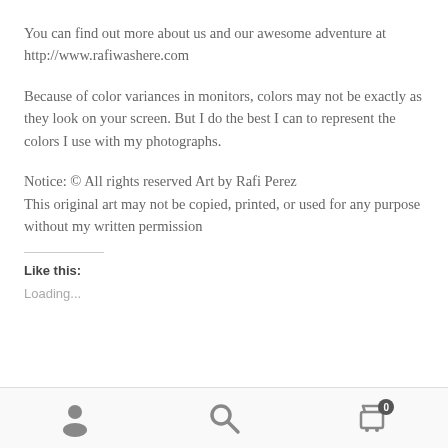You can find out more about us and our awesome adventure at http://www.rafiwashere.com
Because of color variances in monitors, colors may not be exactly as they look on your screen. But I do the best I can to represent the colors I use with my photographs.
Notice: © All rights reserved Art by Rafi Perez
This original art may not be copied, printed, or used for any purpose without my written permission
Like this:
Loading...
User icon, Search icon, Cart icon with badge 0